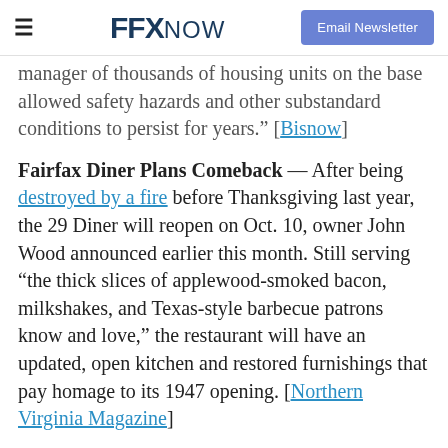≡  FFX NOW  Email Newsletter
manager of thousands of housing units on the base allowed safety hazards and other substandard conditions to persist for years." [Bisnow]
Fairfax Diner Plans Comeback — After being destroyed by a fire before Thanksgiving last year, the 29 Diner will reopen on Oct. 10, owner John Wood announced earlier this month. Still serving “the thick slices of applewood-smoked bacon, milkshakes, and Texas-style barbecue patrons know and love,” the restaurant will have an updated, open kitchen and restored furnishings that pay homage to its 1947 opening. [Northern Virginia Magazine]
Tips for Handling the Baby Formula Shortage — “As the nationwide infant formula shortage continues due to a temporary shutdown of the plant, the...